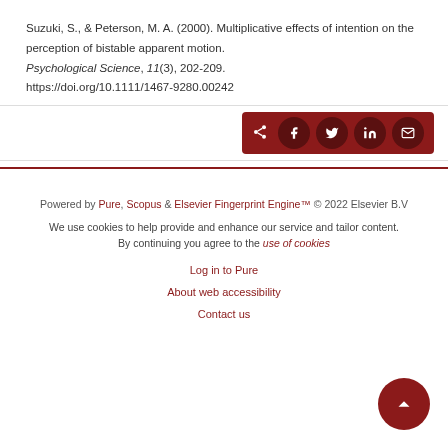Suzuki, S., & Peterson, M. A. (2000). Multiplicative effects of intention on the perception of bistable apparent motion. Psychological Science, 11(3), 202-209. https://doi.org/10.1111/1467-9280.00242
[Figure (other): Share bar with dark red background containing share icons: general share, Facebook, Twitter, LinkedIn, Email]
Powered by Pure, Scopus & Elsevier Fingerprint Engine™ © 2022 Elsevier B.V
We use cookies to help provide and enhance our service and tailor content. By continuing you agree to the use of cookies
Log in to Pure
About web accessibility
Contact us